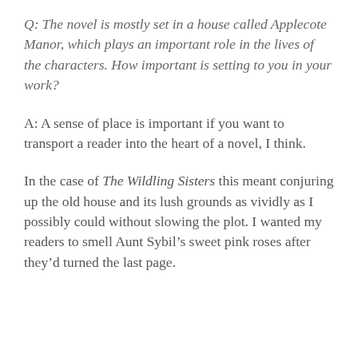Q: The novel is mostly set in a house called Applecote Manor, which plays an important role in the lives of the characters. How important is setting to you in your work?
A: A sense of place is important if you want to transport a reader into the heart of a novel, I think.
In the case of The Wildling Sisters this meant conjuring up the old house and its lush grounds as vividly as I possibly could without slowing the plot. I wanted my readers to smell Aunt Sybil’s sweet pink roses after they’d turned the last page.